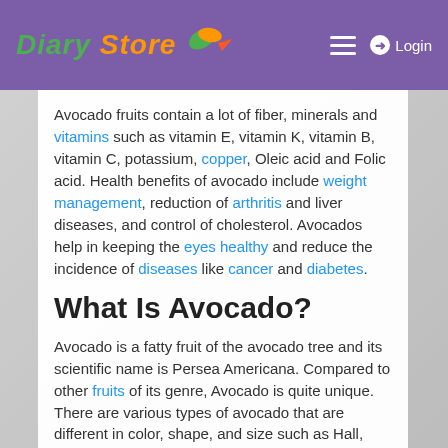Diary Store | Login
Avocado fruits contain a lot of fiber, minerals and vitamins such as vitamin E, vitamin K, vitamin B, vitamin C, potassium, copper, Oleic acid and Folic acid. Health benefits of avocado include weight management, reduction of arthritis and liver diseases, and control of cholesterol. Avocados help in keeping the eyes healthy and reduce the incidence of diseases like cancer and diabetes.
What Is Avocado?
Avocado is a fatty fruit of the avocado tree and its scientific name is Persea Americana. Compared to other fruits of its genre, Avocado is quite unique. There are various types of avocado that are different in color, shape, and size such as Hall, Hass, Choquette, Rincon, Shepard, Tonnage, Daily 11, Macarthur,